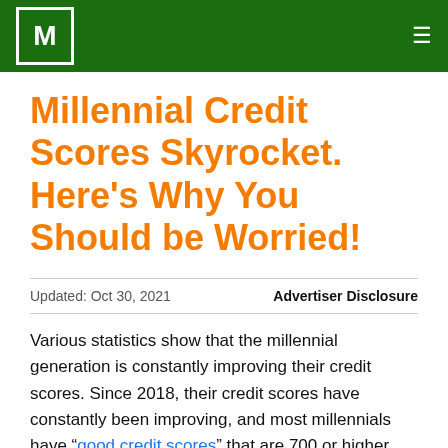M
Millennial Credit Scores Skyrocket. Here’s Why You Should be Worried!
Updated: Oct 30, 2021
Advertiser Disclosure
Various statistics show that the millennial generation is constantly improving their credit scores. Since 2018, their credit scores have constantly been improving, and most millennials have “good credit scores” that are 700 or higher. However, despite all of this, millennials have a lot to worry